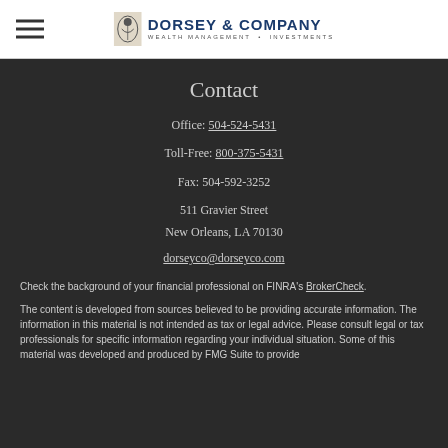Dorsey & Company — Wealth Management • Investments
Contact
Office: 504-524-5431
Toll-Free: 800-375-5431
Fax: 504-592-3252
511 Gravier Street
New Orleans, LA 70130
dorseyco@dorseyco.com
Check the background of your financial professional on FINRA's BrokerCheck.
The content is developed from sources believed to be providing accurate information. The information in this material is not intended as tax or legal advice. Please consult legal or tax professionals for specific information regarding your individual situation. Some of this material was developed and produced by FMG Suite to provide